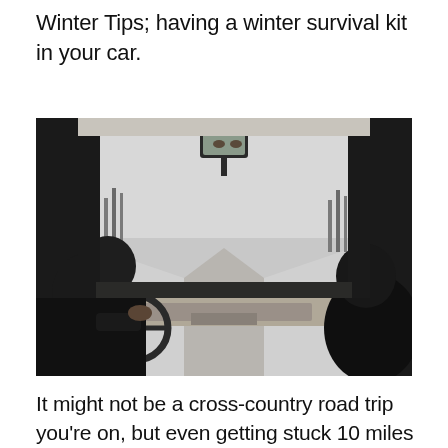Winter Tips; having a winter survival kit in your car.
[Figure (photo): Interior view from back seat of a car being driven on a snow-covered road in winter. Driver visible from behind gripping steering wheel, rearview mirror showing driver's eyes, snowy landscape through windshield, passenger seat visible on right.]
It might not be a cross-country road trip you're on, but even getting stuck 10 miles from your home can lead to disaster. When many...